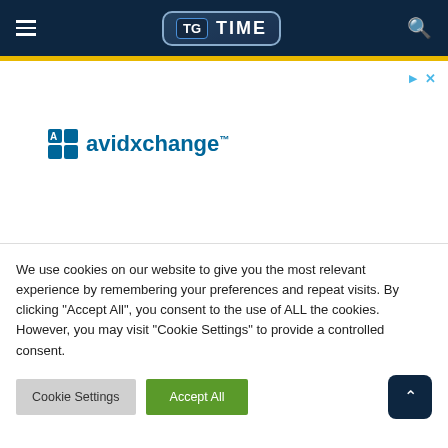TG TIME
[Figure (logo): AvidXchange logo advertisement with play and close icons]
We use cookies on our website to give you the most relevant experience by remembering your preferences and repeat visits. By clicking "Accept All", you consent to the use of ALL the cookies. However, you may visit "Cookie Settings" to provide a controlled consent.
Cookie Settings | Accept All